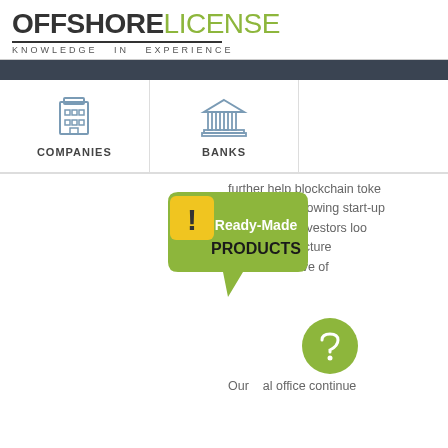OFFSHORE LICENSE — KNOWLEDGE IN EXPERIENCE
[Figure (screenshot): Navigation bar with COMPANIES icon (building) and BANKS icon (bank/columns)]
further help blockchain toke... business or growing start-up... nfidence for investors loo... to have structure... a new wave of...
[Figure (infographic): Ready-Made PRODUCTS badge (green speech bubble with yellow exclamation icon)]
Our al office continue... welcomes any new regulatio... started working on creating... above-men... reshly-m... willing to tr... selves in o... every perso... rested. For... offered by Offshorelicense -...
[Figure (infographic): Green circular chat/message button overlay]